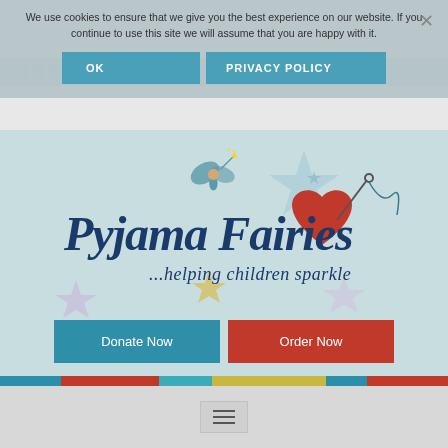We use cookies to ensure that we give you the best experience on our website. If you continue to use this site we will assume that you are happy with it.
OK
PRIVACY POLICY
Fairy Login
Contact
[Figure (logo): Pyjama Fairies logo with fairy illustration, heart with needle and thread, decorative stars, and tagline '...helping children sparkle']
Donate Now
Order Now
[Figure (other): Hamburger menu icon (three horizontal lines) inside a box]